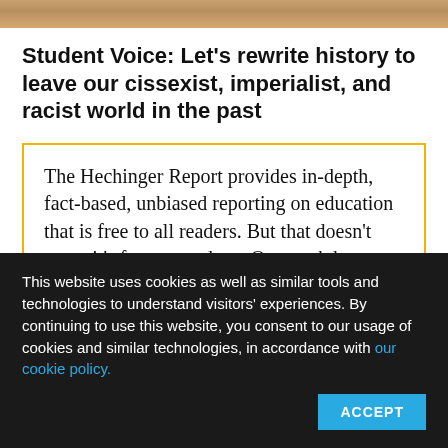[Figure (photo): Cropped photo strip visible at top of page, showing partial view of people]
Student Voice: Let’s rewrite history to leave our cissexist, imperialist, and racist world in the past
The Hechinger Report provides in-depth, fact-based, unbiased reporting on education that is free to all readers. But that doesn't mean it's free to produce. Our work keeps educators and the public informed about...
This website uses cookies as well as similar tools and technologies to understand visitors’ experiences. By continuing to use this website, you consent to our usage of cookies and similar technologies, in accordance with our cookie policy.